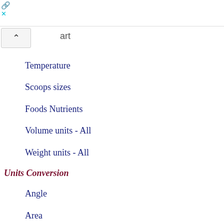Temperature
Scoops sizes
Foods Nutrients
Volume units - All
Weight units - All
Units Conversion
Angle
Area
Computing
Energy
Flow rate